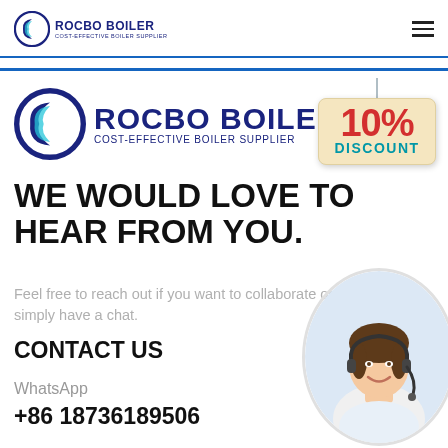ROCBO BOILER | COST-EFFECTIVE BOILER SUPPLIER
[Figure (logo): Rocbo Boiler logo - large version with dark blue crescent and teal accent, text ROCBO BOILER COST-EFFECTIVE BOILER SUPPLIER]
[Figure (infographic): 10% DISCOUNT badge hanging sign with red bold 10% and teal DISCOUNT text on cream background]
WE WOULD LOVE TO HEAR FROM YOU.
Feel free to reach out if you want to collaborate or simply have a chat.
CONTACT US
WhatsApp
+86 18736189506
[Figure (photo): Woman wearing headset/headphones smiling, customer service agent, circular cropped photo]